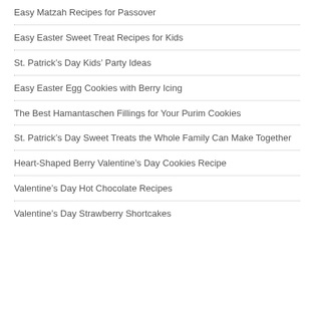Easy Matzah Recipes for Passover
Easy Easter Sweet Treat Recipes for Kids
St. Patrick’s Day Kids’ Party Ideas
Easy Easter Egg Cookies with Berry Icing
The Best Hamantaschen Fillings for Your Purim Cookies
St. Patrick’s Day Sweet Treats the Whole Family Can Make Together
Heart-Shaped Berry Valentine’s Day Cookies Recipe
Valentine’s Day Hot Chocolate Recipes
Valentine’s Day Strawberry Shortcakes